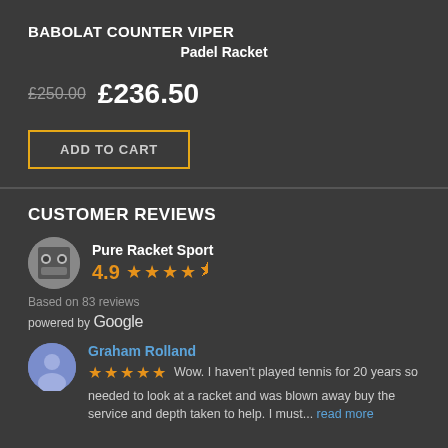BABOLAT COUNTER VIPER Padel Racket
£250.00 £236.50
ADD TO CART
CUSTOMER REVIEWS
Pure Racket Sport
4.9 ★★★★½
Based on 83 reviews
powered by Google
Graham Rolland ★★★★★ Wow. I haven't played tennis for 20 years so needed to look at a racket and was blown away buy the service and depth taken to help. I must... read more